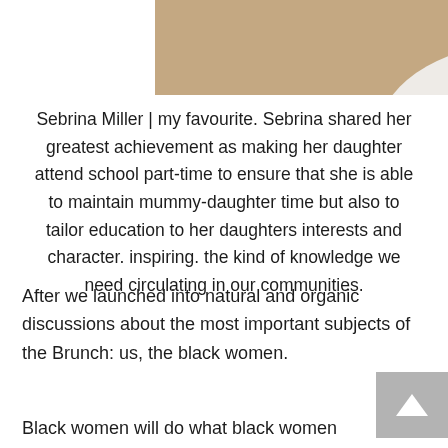[Figure (photo): Partial photo of a person wearing a white shirt with a necklace, cropped at the torso area]
Sebrina Miller | my favourite. Sebrina shared her greatest achievement as making her daughter attend school part-time to ensure that she is able to maintain mummy-daughter time but also to tailor education to her daughters interests and character. inspiring. the kind of knowledge we need circulating in our communities.
After we launched into natural and organic discussions about the most important subjects of the Brunch: us, the black women.
Black women will do what black women